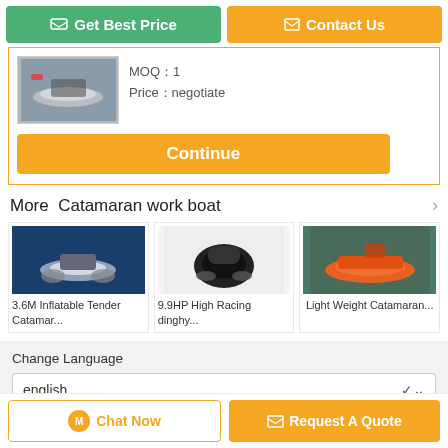Get Best Price
Contact Us
MOQ：1
Price：negotiate
Continue
More  Catamaran work boat
[Figure (photo): 3.6M Inflatable Tender Catamaran boat product image on blue background]
3.6M Inflatable Tender Catamar...
[Figure (photo): 9.9HP High Racing dinghy boat product image, black boat aerial view]
9.9HP High Racing dinghy...
[Figure (photo): Light Weight Catamaran boat product image, orange boat on water]
Light Weight Catamaran...
Change Language
english
Chat Now
Request A Quote